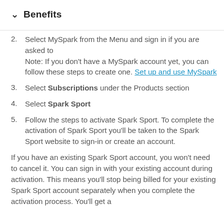Benefits
Select MySpark from the Menu and sign in if you are asked to Note: If you don't have a MySpark account yet, you can follow these steps to create one. Set up and use MySpark
Select Subscriptions under the Products section
Select Spark Sport
Follow the steps to activate Spark Sport. To complete the activation of Spark Sport you'll be taken to the Spark Sport website to sign-in or create an account.
If you have an existing Spark Sport account, you won't need to cancel it. You can sign in with your existing account during activation. This means you'll stop being billed for your existing Spark Sport account separately when you complete the activation process. You'll get a